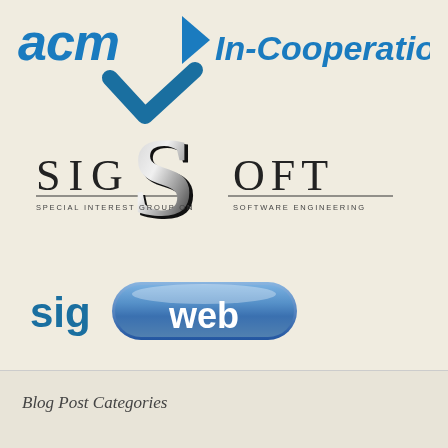[Figure (logo): ACM In-Cooperation logo with blue arrow/chevron marks and italic bold text]
[Figure (logo): SIGSOFT - Special Interest Group on Software Engineering logo with large stylized S]
[Figure (logo): SIGWEB logo with blue pill/capsule shape around 'web' text]
Blog Post Categories